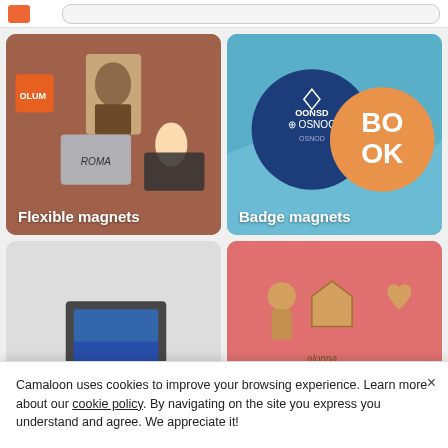[Figure (screenshot): Top navigation bar with search field]
[Figure (photo): Flexible magnets product card showing Mona Lisa magnet and Roma magnets on orange/brown surface with label 'Flexible magnets']
[Figure (photo): Badge magnets product card showing blue and orange circular badge magnets on teal background with label 'Badge magnets']
[Figure (photo): Bottom-left product card showing printed magnet photos on light gray background, partially obscured by cookie banner]
[Figure (photo): Bottom-right product card showing wooden laser-cut custom shape magnets on pink background, partially obscured by cookie banner]
Camaloon uses cookies to improve your browsing experience. Learn more about our cookie policy. By navigating on the site you express you understand and agree. We appreciate it!